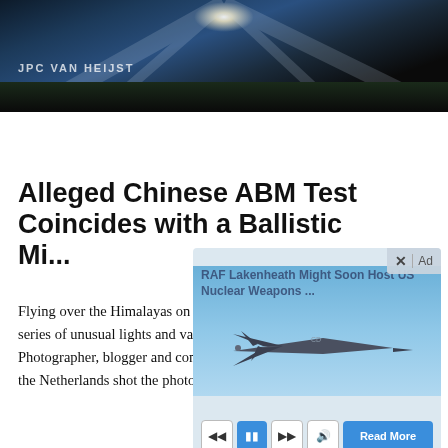[Figure (photo): Aerial/cockpit view of Earth's horizon at night with a bright sun or light flare visible at top center. Dark sky and dark ground. Watermark text 'JPC VAN HEIJST' in lower left.]
Alleged Chinese ABM Test Coincides with a Ballistic M...
A commercial pilot flying from Beijing to Baku has shot photos of what appears to be a Chinese anti-ballistic...
[Figure (screenshot): Advertisement overlay showing an F-35 fighter jet in flight over blue sky with text 'RAF Lakenheath Might Soon Host US Nuclear Weapons...' and media player controls and a Read More button. An X close button and Ad label are shown in top right corner.]
Flying over the Himalayas on July 22nd the flight crew spotted a series of unusual lights and vapor trails climb into the sky. Photographer, blogger and commercial pilot Christiaan van Heijst of the Netherlands shot the photos and more. The...